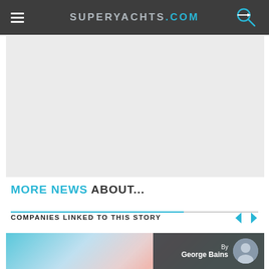SUPERYACHTS.COM
[Figure (photo): Large gray image placeholder block]
MORE NEWS ABOUT...
COMPANIES LINKED TO THIS STORY
[Figure (photo): Bottom image strip showing confetti/celebration scene with author overlay. By George Bains.]